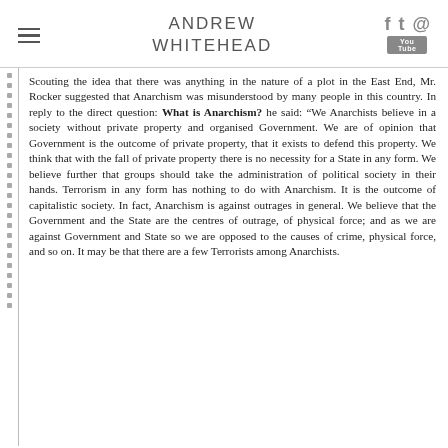ANDREW WHITEHEAD
Scouting the idea that there was anything in the nature of a plot in the East End, Mr. Rocker suggested that Anarchism was misunderstood by many people in this country. In reply to the direct question: What is Anarchism? he said: "We Anarchists believe in a society without private property and organised Government. We are of opinion that Government is the outcome of private property, that it exists to defend this property. We think that with the fall of private property there is no necessity for a State in any form. We believe further that groups should take the administration of political society in their hands. Terrorism in any form has nothing to do with Anarchism. It is the outcome of capitalistic society. In fact, Anarchism is against outrages in general. We believe that the Government and the State are the centres of outrage, of physical force; and as we are against Government and State so we are opposed to the causes of crime, physical force, and so on. It may be that there are a few Terrorists among Anarchists.